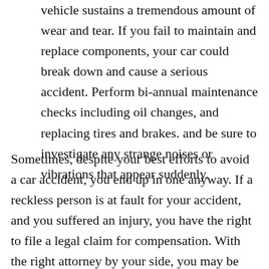vehicle sustains a tremendous amount of wear and tear. If you fail to maintain and replace components, your car could break down and cause a serious accident. Perform bi-annual maintenance checks including oil changes, and replacing tires and brakes. and be sure to investigate any strange noises or vibrations that appear suddenly.
Sometimes, despite your best efforts to avoid a car accident, you end up in one anyway. If a reckless person is at fault for your accident, and you suffered an injury, you have the right to file a legal claim for compensation. With the right attorney by your side, you may be able to recover